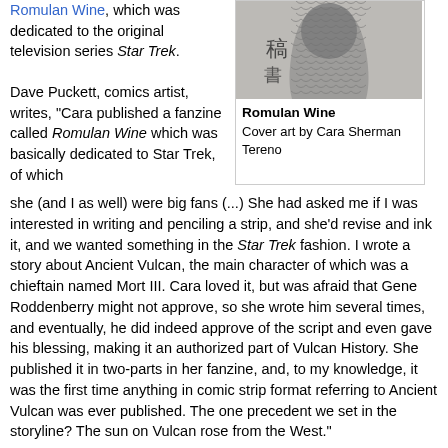Romulan Wine, which was dedicated to the original television series Star Trek.
[Figure (photo): Cover art image for Romulan Wine fanzine showing a figure in scale-like armor with Asian characters/calligraphy]
Romulan Wine
Cover art by Cara Sherman Tereno
Dave Puckett, comics artist, writes, "Cara published a fanzine called Romulan Wine which was basically dedicated to Star Trek, of which she (and I as well) were big fans (...) She had asked me if I was interested in writing and penciling a strip, and she'd revise and ink it, and we wanted something in the Star Trek fashion. I wrote a story about Ancient Vulcan, the main character of which was a chieftain named Mort III. Cara loved it, but was afraid that Gene Roddenberry might not approve, so she wrote him several times, and eventually, he did indeed approve of the script and even gave his blessing, making it an authorized part of Vulcan History. She published it in two-parts in her fanzine, and, to my knowledge, it was the first time anything in comic strip format referring to Ancient Vulcan was ever published. The one precedent we set in the storyline? The sun on Vulcan rose from the West."
Cara Sherman-Tereno was one of the few women to work in mainstream American comics. She was employed by DC, but for herself and the non-mainstream press she produced gay vampire erotica, such as 'Life With The Vampire', drawn in 1978, published in Taboo in 1989. Cara died of leukemia in February 1996, aged 44.